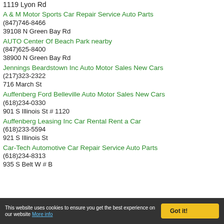1119 Lyon Rd
A & M Motor Sports Car Repair Service Auto Parts
(847)746-8466
39108 N Green Bay Rd
AUTO Center Of Beach Park nearby
(847)625-8400
38900 N Green Bay Rd
Jennings Beardstown Inc Auto Motor Sales New Cars
(217)323-2322
716 March St
Auffenberg Ford Belleville Auto Motor Sales New Cars
(618)234-0330
901 S Illinois St # 1120
Auffenberg Leasing Inc Car Rental Rent a Car
(618)233-5594
921 S Illinois St
Car-Tech Automotive Car Repair Service Auto Parts
(618)234-8313
935 S Belt W # B
This website uses cookies to ensure you get the best experience on our website More info  Got it!